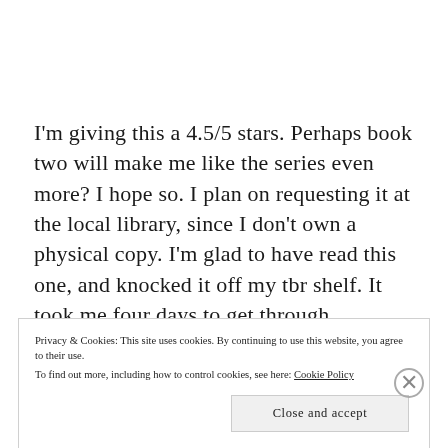I'm giving this a 4.5/5 stars. Perhaps book two will make me like the series even more? I hope so. I plan on requesting it at the local library, since I don't own a physical copy. I'm glad to have read this one, and knocked it off my tbr shelf. It took me four days to get through 600+pages, something
Privacy & Cookies: This site uses cookies. By continuing to use this website, you agree to their use.
To find out more, including how to control cookies, see here: Cookie Policy
Close and accept